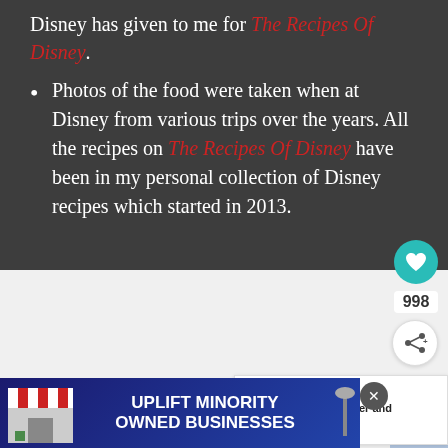Disney has given to me for The Recipes Of Disney.
Photos of the food were taken when at Disney from various trips over the years. All the recipes on The Recipes Of Disney have been in my personal collection of Disney recipes which started in 2013.
[Figure (screenshot): Social sharing widget with teal heart button, count 998, and share icon]
[Figure (screenshot): What's Next panel showing Frushi Flower and Garden thumbnail]
[Figure (screenshot): Advertisement banner: Uplift Minority Owned Businesses with store graphic]